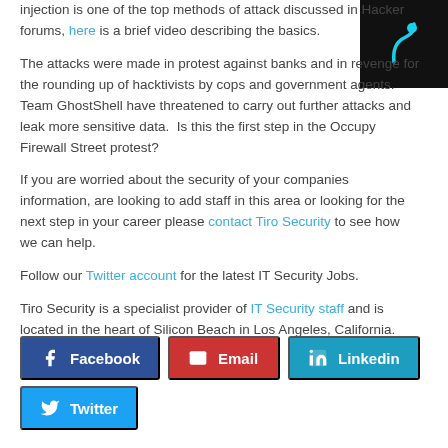injection is one of the top methods of attack discussed in Hacker forums, here is a brief video describing the basics.
The attacks were made in protest against banks and in revenge for the rounding up of hacktivists by cops and government agents.   Team GhostShell have threatened to carry out further attacks and leak more sensitive data.  Is this the first step in the Occupy Firewall Street protest?
If you are worried about the security of your companies information, are looking to add staff in this area or looking for the next step in your career please contact Tiro Security to see how we can help.
Follow our Twitter account for the latest IT Security Jobs.
Tiro Security is a specialist provider of IT Security staff and is located in the heart of Silicon Beach in Los Angeles, California.
[Figure (other): Facebook share button]
[Figure (other): Email share button]
[Figure (other): Linkedin share button]
[Figure (other): Twitter share button]